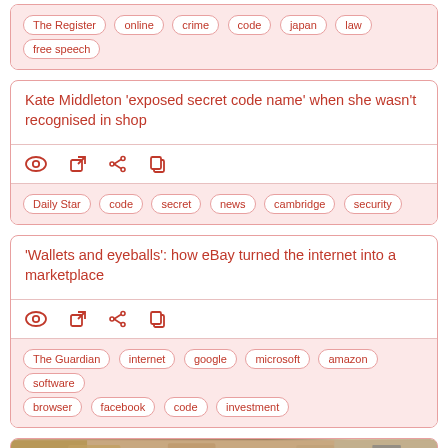Tags: The Register, online, crime, code, japan, law, free speech
Kate Middleton 'exposed secret code name' when she wasn't recognised in shop
Tags: Daily Star, code, secret, news, cambridge, security
'Wallets and eyeballs': how eBay turned the internet into a marketplace
Tags: The Guardian, internet, google, microsoft, amazon, software, browser, facebook, code, investment
[Figure (photo): Photograph of cardboard boxes stacked in a warehouse or storage area]